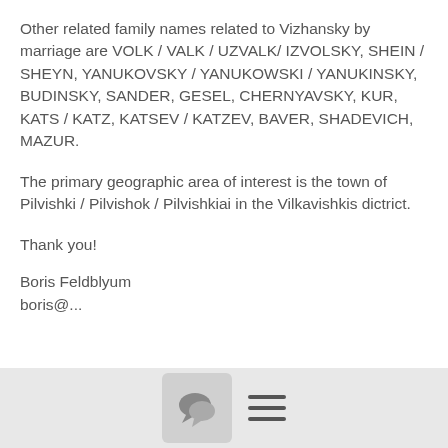Other related family names related to Vizhansky by marriage are VOLK / VALK / UZVALK/ IZVOLSKY, SHEIN / SHEYN, YANUKOVSKY / YANUKOWSKI / YANUKINSKY, BUDINSKY, SANDER, GESEL, CHERNYAVSKY, KUR, KATS / KATZ, KATSEV / KATZEV, BAVER, SHADEVICH, MAZUR.
The primary geographic area of interest is the town of Pilvishki / Pilvishok / Pilvishkiai in the Vilkavishkis dictrict.
Thank you!
Boris Feldblyum
boris@...
≡ More